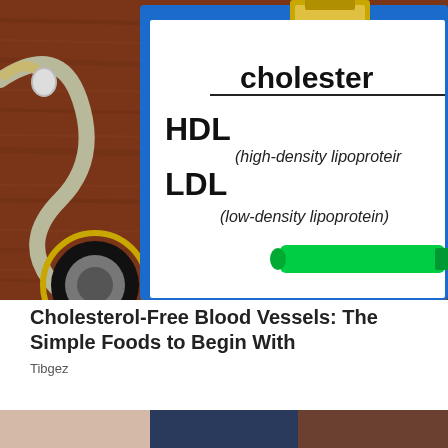[Figure (photo): Photo of a medical clipboard on a wooden desk with a stethoscope, showing a document with 'cholesterol', 'HDL (high-density lipoprotein)', 'LDL (low-density lipoprotein)' written on it, and a green highlighter marker.]
Cholesterol-Free Blood Vessels: The Simple Foods to Begin With
Tibgez
[Figure (photo): Partial image of another article thumbnail visible at the bottom of the page.]